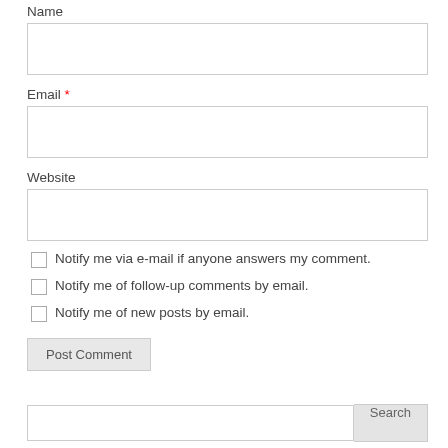Name
[Figure (screenshot): Empty text input field for Name]
Email *
[Figure (screenshot): Empty text input field for Email]
Website
[Figure (screenshot): Empty text input field for Website]
Notify me via e-mail if anyone answers my comment.
Notify me of follow-up comments by email.
Notify me of new posts by email.
Post Comment
[Figure (screenshot): Search input field with Search button]